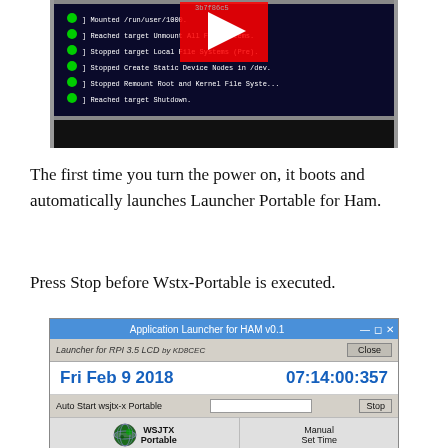[Figure (screenshot): Screenshot of a Raspberry Pi terminal boot sequence showing systemd boot messages on a dark screen with a YouTube logo overlay partially visible]
The first time you turn the power on, it boots and automatically launches Launcher Portable for Ham.
Press Stop before Wstx-Portable is executed.
[Figure (screenshot): Application Launcher for HAM v0.1 GUI window showing date Fri Feb 9 2018, time 07:14:00:357, Auto Start wsjtx-x Portable with Stop button, WSJTX Portable button with globe icon, Manual Set Time button, and bottom row with Execute, Virtual, Change, Change buttons]